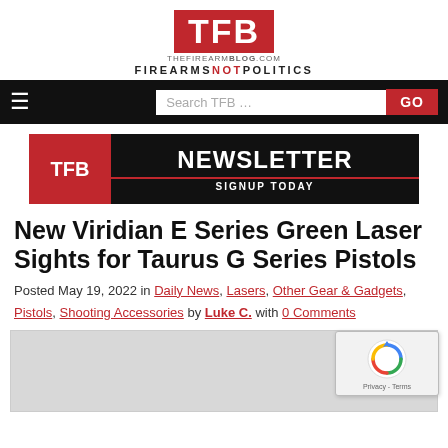[Figure (logo): TFB (The Firearm Blog) logo — red box with white TFB letters, site URL below, FIREARMS NOT POLITICS tagline]
[Figure (screenshot): Black navigation bar with hamburger menu icon, search box reading 'Search TFB …', and red GO button]
[Figure (logo): TFB Newsletter signup banner — black background with red TFB logo box, NEWSLETTER SIGNUP TODAY text]
New Viridian E Series Green Laser Sights for Taurus G Series Pistols
Posted May 19, 2022 in Daily News, Lasers, Other Gear & Gadgets, Pistols, Shooting Accessories by Luke C. with 0 Comments
[Figure (photo): Partial article image, gray placeholder area with reCAPTCHA badge overlay in lower right]